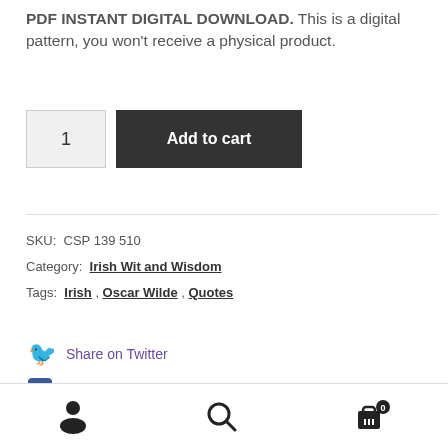PDF INSTANT DIGITAL DOWNLOAD.  This is a digital pattern, you won't receive a physical product.
[Figure (screenshot): Quantity input box showing '1' and a dark 'Add to cart' button]
SKU:  CSP 139 510
Category:  Irish Wit and Wisdom
Tags:  Irish ,  Oscar Wilde ,  Quotes
Share on Twitter
Share on Facebook
Pin this product
[Figure (screenshot): Bottom navigation bar with user icon, search icon, and cart icon with badge '0']